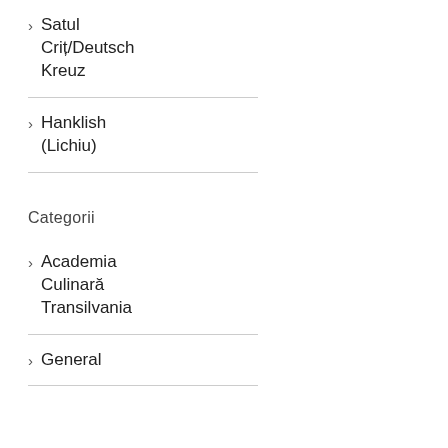Satul Criț/Deutsch Kreuz
Hanklish (Lichiu)
Categorii
Academia Culinară Transilvania
General